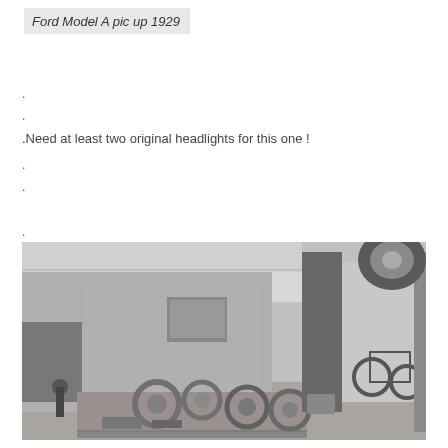Ford Model A pic up 1929
.
.
.Need at least two original headlights for this one !
.
.
.
[Figure (photo): Black and white photograph of a 1929 Ford Model A pickup truck in a garage or workshop setting. The truck bed is visible loaded with wheel rims. In the background there is a motorcycle and a car lifted on a lift with a wheel visible at the top right.]